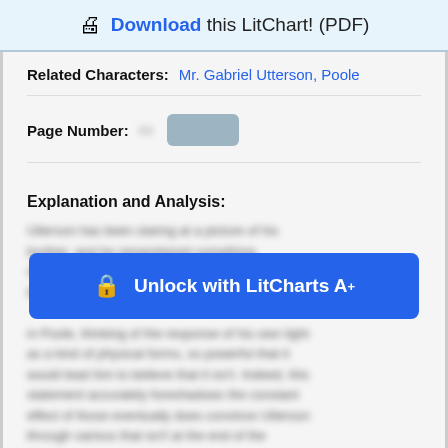Download this LitChart! (PDF)
Related Characters: Mr. Gabriel Utterson, Poole
Page Number:
Explanation and Analysis:
Utterson has been staring at a picture of his brother...
[Figure (other): Unlock with LitCharts A+ button overlay]
in Poole, thinking of the response of his own light as a kind of physical forms, so powerful that it would lead him to believe that it isn't. Indeed, this statement accurately foreshadows the constant effort of those eventually does convince Utterson through various that isn't at the end of the novel.